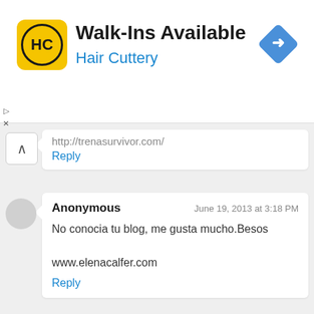[Figure (screenshot): Hair Cuttery advertisement banner with yellow logo, title 'Walk-Ins Available', subtitle 'Hair Cuttery', and a blue diamond navigation icon]
http://trenasurvivor.com/
Reply
Anonymous
June 19, 2013 at 3:18 PM
No conocia tu blog, me gusta mucho.Besos

www.elenacalfer.com
Reply
Unknown
June 19, 2013 at 3:21 PM
You have great Ideas and a interesting blog, i really like it!
what you think, wanna follow each other?